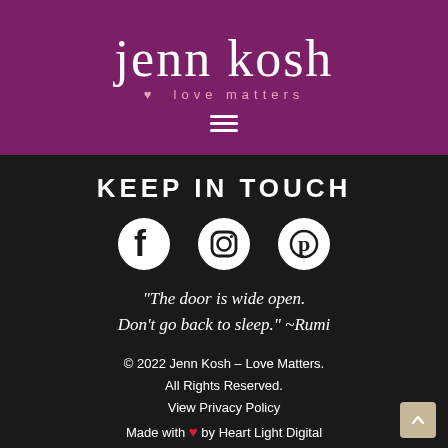[Figure (logo): Jenn Kosh love matters brand logo on purple background with script font and hamburger menu icon]
KEEP IN TOUCH
[Figure (infographic): Social media icons: Facebook, Instagram, Pinterest]
“The door is wide open. Don’t go back to sleep.” ~Rumi
© 2022 Jenn Kosh – Love Matters. All Rights Reserved. View Privacy Policy Made with ❤ by Heart Light Digital